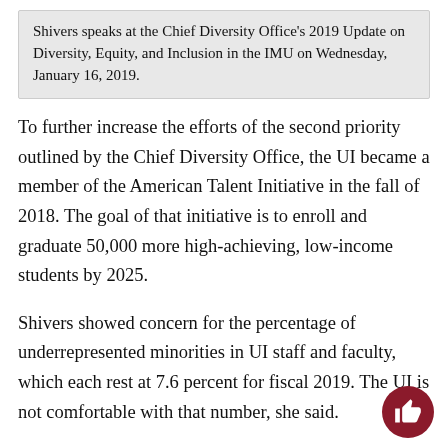Shivers speaks at the Chief Diversity Office's 2019 Update on Diversity, Equity, and Inclusion in the IMU on Wednesday, January 16, 2019.
To further increase the efforts of the second priority outlined by the Chief Diversity Office, the UI became a member of the American Talent Initiative in the fall of 2018. The goal of that initiative is to enroll and graduate 50,000 more high-achieving, low-income students by 2025.
Shivers showed concern for the percentage of underrepresented minorities in UI staff and faculty, which each rest at 7.6 percent for fiscal 2019. The UI is not comfortable with that number, she said.
“I think the recruitment and retention of